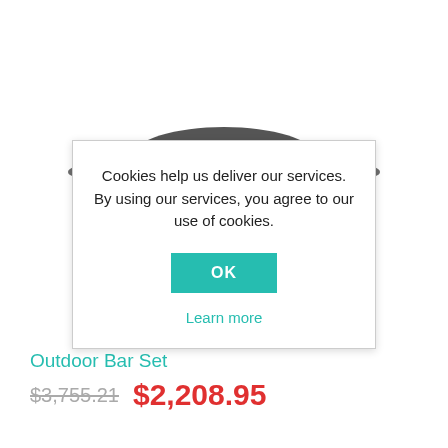[Figure (photo): Outdoor bar set product photo showing a round table with bar stools around it, viewed from above at an angle. Partially obscured by cookie consent modal.]
Cookies help us deliver our services. By using our services, you agree to our use of cookies.
OK
Learn more
Outdoor Bar Set
$3,755.21 $2,208.95